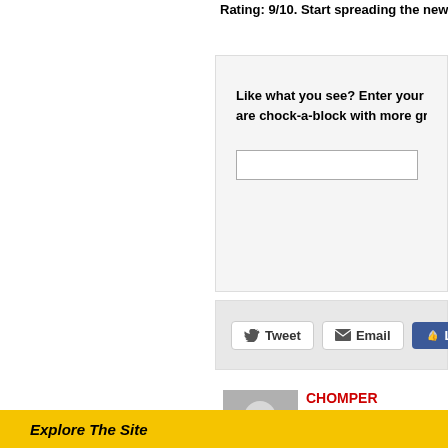Rating: 9/10. Start spreading the new
Like what you see? Enter your email are chock-a-block with more great
Tweet
Email
Like
Sign
CHOMPER
Phillpotts for me every time. crisps next time?
Reply To This...
Explore The Site